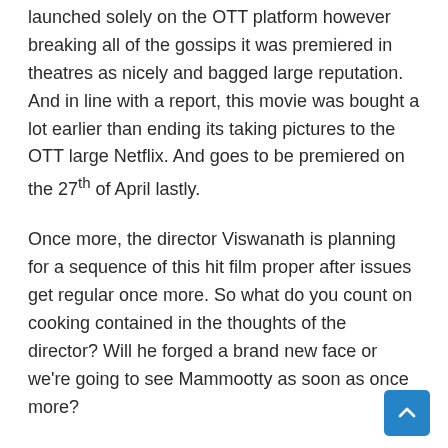launched solely on the OTT platform however breaking all of the gossips it was premiered in theatres as nicely and bagged large reputation. And in line with a report, this movie was bought a lot earlier than ending its taking pictures to the OTT large Netflix. And goes to be premiered on the 27th of April lastly.
Once more, the director Viswanath is planning for a sequence of this hit film proper after issues get regular once more. So what do you count on cooking contained in the thoughts of the director? Will he forged a brand new face or we're going to see Mammootty as soon as once more?
Entertainment Hub
Categories: Entertainment